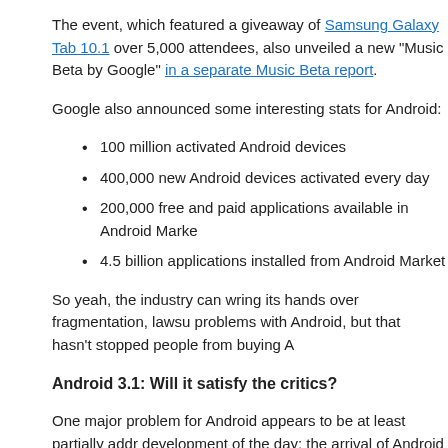The event, which featured a giveaway of Samsung Galaxy Tab 10.1 over 5,000 attendees, also unveiled a new "Music Beta by Google" in a separate Music Beta report.
Google also announced some interesting stats for Android:
100 million activated Android devices
400,000 new Android devices activated every day
200,000 free and paid applications available in Android Market
4.5 billion applications installed from Android Market
So yeah, the industry can wring its hands over fragmentation, lawsuits and other problems with Android, but that hasn't stopped people from buying Android.
Android 3.1: Will it satisfy the critics?
One major problem for Android appears to be at least partially addressed by a key development of the day: the arrival of Android 3.1. The update will ship to Motorola Xoom tablet users today. Android 3.1, which upgrades the promising but buggy Android 3.0 ("Honeycomb"), appears to fix many of the bugs and UI problems that helped lead to slow sales of Motorola Mobility's Xoom.